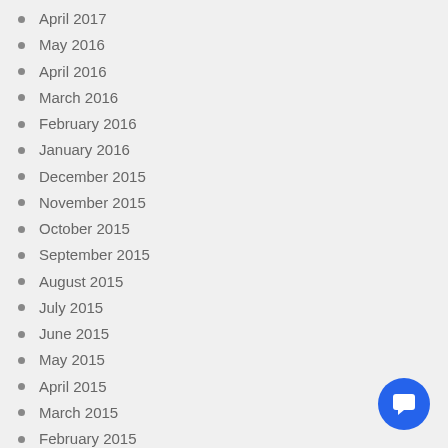April 2017
May 2016
April 2016
March 2016
February 2016
January 2016
December 2015
November 2015
October 2015
September 2015
August 2015
July 2015
June 2015
May 2015
April 2015
March 2015
February 2015
January 2015
December 2014
[Figure (illustration): Blue circular chat/comment button icon in bottom-right corner]